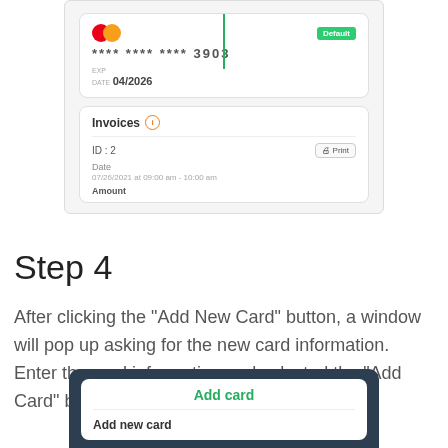[Figure (screenshot): UI screenshot showing a credit card block with Mastercard logo, card number ending 3903, expiry 04/2026, Default badge, green vertical line, and an Invoices section with ID:2, Print button, Date 07/26/2021 at 09:00 am - 10:00 am, and Amount label]
Step 4
After clicking the “Add New Card” button, a window will pop up asking for the new card information. Enter the card information and selected the “Add Card” button to confirm.
[Figure (screenshot): UI screenshot showing a dark modal with 'Add card' title and 'Add new card' section below]